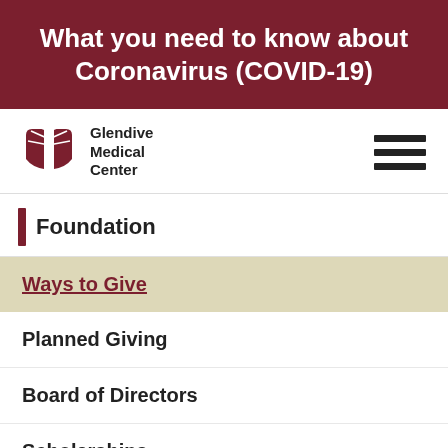What you need to know about Coronavirus (COVID-19)
[Figure (logo): Glendive Medical Center logo with stylized sunburst/wheat stalk icon in dark red and text 'Glendive Medical Center']
Foundation
Ways to Give
Planned Giving
Board of Directors
Scholarships
How to Use Amazon Smile